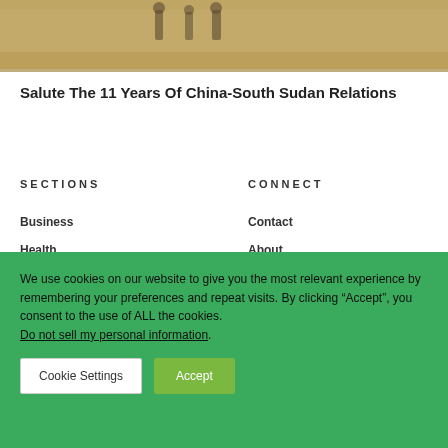[Figure (photo): Partial photograph showing sandy/desert background with silhouettes at top]
Salute The 11 Years Of China-South Sudan Relations
SECTIONS
CONNECT
Business
Health
Contact
About
We use cookies on our website to give you the most relevant experience by remembering your preferences and repeat visits. By clicking “Accept”, you consent to the use of ALL the cookies. Do not sell my personal information.
Cookie Settings
Accept